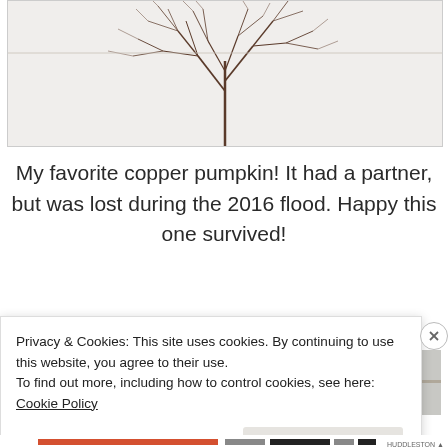[Figure (photo): Photo of bare tree branches/twigs with a fine spidery root-like pattern against a light background, partially cropped at top of page]
My favorite copper pumpkin! It had a partner, but was lost during the 2016 flood. Happy this one survived!
[Figure (photo): Partial view of another photo beginning at the bottom of the page, mostly obscured by the cookie consent overlay]
Privacy & Cookies: This site uses cookies. By continuing to use this website, you agree to their use.
To find out more, including how to control cookies, see here: Cookie Policy
Close and accept